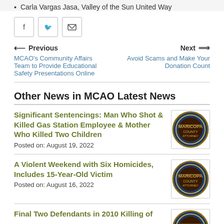Carla Vargas Jasa, Valley of the Sun United Way
[Figure (other): Social sharing icons: Facebook, Twitter, Email]
Previous
MCAO's Community Affairs Team to Provide Educational Safety Presentations Online
Next
Avoid Scams and Make Your Donation Count
Other News in MCAO Latest News
Significant Sentencings: Man Who Shot & Killed Gas Station Employee & Mother Who Killed Two Children
Posted on: August 19, 2022
[Figure (logo): Maricopa County Attorney seal/logo circular badge]
A Violent Weekend with Six Homicides, Includes 15-Year-Old Victim
Posted on: August 16, 2022
[Figure (logo): Maricopa County Attorney seal/logo circular badge]
Final Two Defendants in 2010 Killing of
[Figure (logo): Maricopa County Attorney seal/logo circular badge]